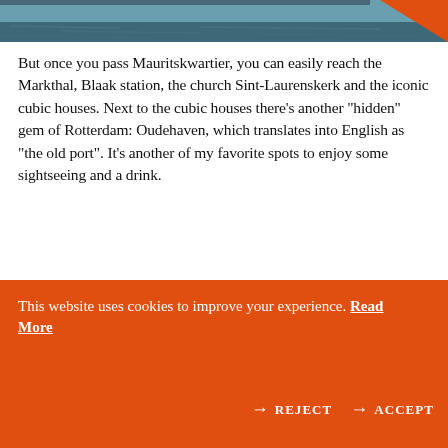[Figure (photo): Top portion of a water/harbor photo with orange triangle overlay in upper right corner]
But once you pass Mauritskwartier, you can easily reach the Markthal, Blaak station, the church Sint-Laurenskerk and the iconic cubic houses. Next to the cubic houses there’s another “hidden” gem of Rotterdam: Oudehaven, which translates into English as “the old port”. It’s another of my favorite spots to enjoy some sightseeing and a drink.
[Figure (photo): Looking up at cubic houses of Rotterdam — yellow/orange geometric cubes with triangular shapes and sky visible between them]
[Figure (photo): Exterior view of Rotterdam cubic houses with a tall white skyscraper in background and a street lamp, warm brown geometric roof shapes]
This website uses cookies to improve your experience. Read More → REJECT → ACCEPT